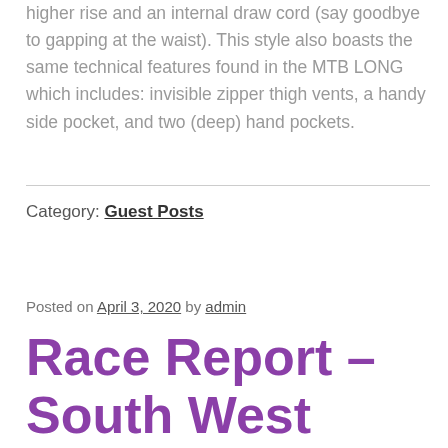higher rise and an internal draw cord (say goodbye to gapping at the waist). This style also boasts the same technical features found in the MTB LONG which includes: invisible zipper thigh vents, a handy side pocket, and two (deep) hand pockets.
Category: Guest Posts
Posted on April 3, 2020 by admin
Race Report – South West Kenda Enduro, Haldon – Amy Jones